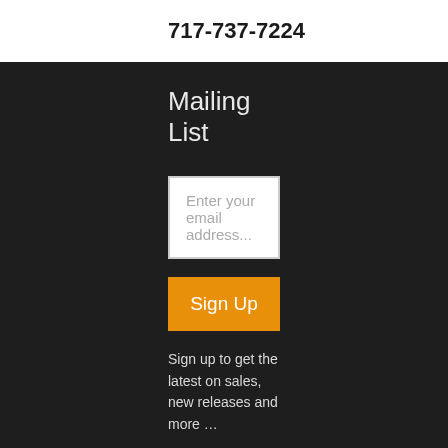717-737-7224
Mailing List
Enter your email address...
Sign Up
Sign up to get the latest on sales, new releases and more …
Content on this website is provided for informational purposes only and is not intended as a substitute for the advice provided by your health care professional.
Information
About Us